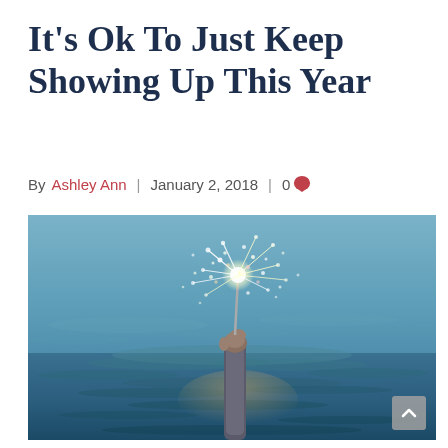It's Ok To Just Keep Showing Up This Year
By Ashley Ann | January 2, 2018 | 0 💬
[Figure (photo): A hand emerging from water holding a lit sparkler, with sparks flying against a teal/blue water background.]